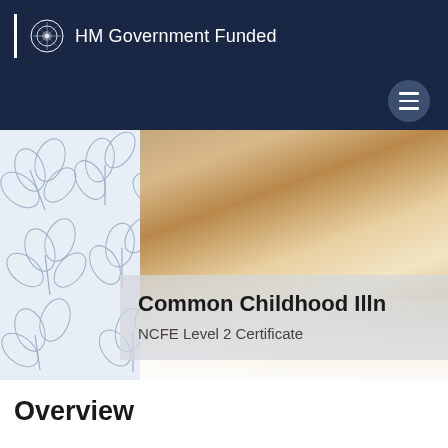HM Government Funded
[Figure (photo): Hero image showing two children — a baby and a toddler — lying on a floral-patterned white fabric background. Overlaid text panel visible.]
Common Childhood Illne
NCFE Level 2 Certificate
Overview